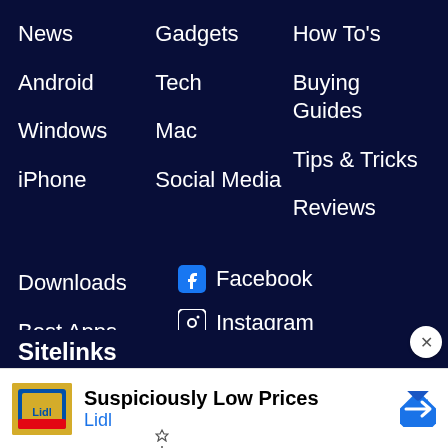News
Gadgets
How To's
Android
Tech
Buying Guides
Windows
Mac
Tips & Tricks
iPhone
Social Media
Reviews
Downloads
Facebook
Best Apps
Instagram
Productivity
Youtube
Featured
Twitter
Sitelinks
[Figure (infographic): Lidl advertisement with logo, text Suspiciously Low Prices and Lidl branding with navigation arrow icon]
Suspiciously Low Prices
Lidl